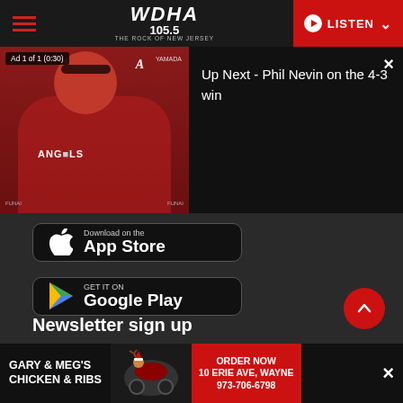WDHA 105.5 - THE ROCK OF NEW JERSEY | LISTEN
[Figure (screenshot): Video player overlay showing a baseball coach (Angels) speaking at a press conference. Ad label reads 'Ad 1 of 1 (0:30)'. Right panel shows 'Up Next - Phil Nevin on the 4-3 win' with close button.]
[Figure (screenshot): App Store download button - Apple App Store]
[Figure (screenshot): Google Play Store download button]
Newsletter sign up
[Figure (screenshot): Advertisement banner: GARY & MEG'S CHICKEN & RIBS | ORDER NOW | 10 ERIE AVE, WAYNE 973-706-6798]